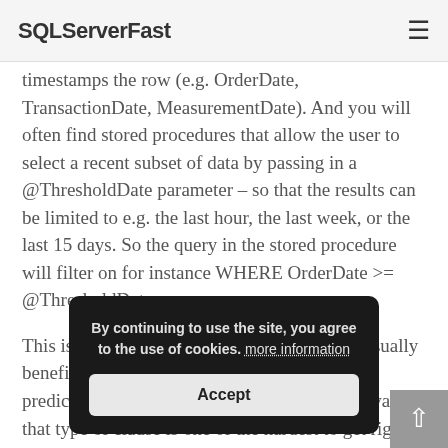SQLServerFast
timestamps the row (e.g. OrderDate, TransactionDate, MeasurementDate). And you will often find stored procedures that allow the user to select a recent subset of data by passing in a @ThresholdDate parameter – so that the results can be limited to e.g. the last hour, the last week, or the last 15 days. So the query in the stored procedure will filter on for instance WHERE OrderDate >= @ThresholdDate.
This is the type of stored procedure that will usually benefit hugely from parameter sniffing. The predicate uses inequality, without sniffing the value, that type of clause is one of the hardest to get right for the cardinality estimator – the
By continuing to use the site, you agree to the use of cookies. more information
Accept